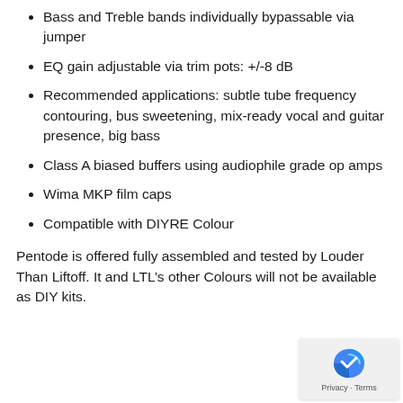Bass and Treble bands individually bypassable via jumper
EQ gain adjustable via trim pots: +/-8 dB
Recommended applications: subtle tube frequency contouring, bus sweetening, mix-ready vocal and guitar presence, big bass
Class A biased buffers using audiophile grade op amps
Wima MKP film caps
Compatible with DIYRE Colour
Pentode is offered fully assembled and tested by Louder Than Liftoff. It and LTL’s other Colours will not be available as DIY kits.